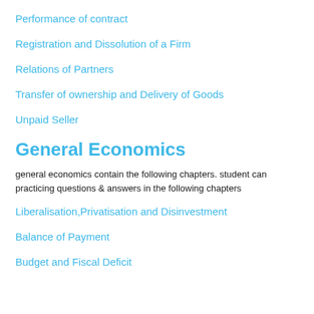Performance of contract
Registration and Dissolution of a Firm
Relations of Partners
Transfer of ownership and Delivery of Goods
Unpaid Seller
General Economics
general economics contain the following chapters. student can  practicing questions & answers in the following chapters
Liberalisation,Privatisation and Disinvestment
Balance of Payment
Budget and Fiscal Deficit